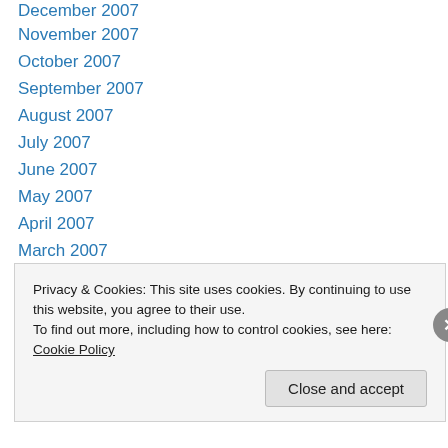December 2007
November 2007
October 2007
September 2007
August 2007
July 2007
June 2007
May 2007
April 2007
March 2007
February 2007
January 2007
December 2006
November 2006
Privacy & Cookies: This site uses cookies. By continuing to use this website, you agree to their use. To find out more, including how to control cookies, see here: Cookie Policy
Close and accept